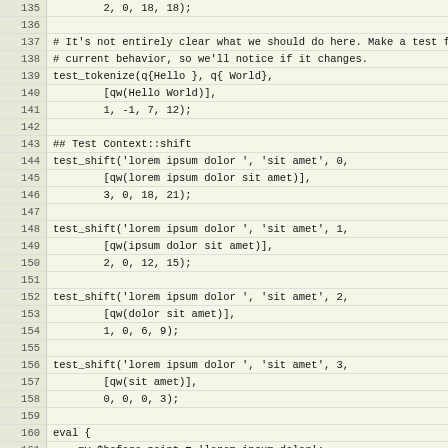Code listing lines 135-165, Perl test file showing tokenize and shift tests and eval block